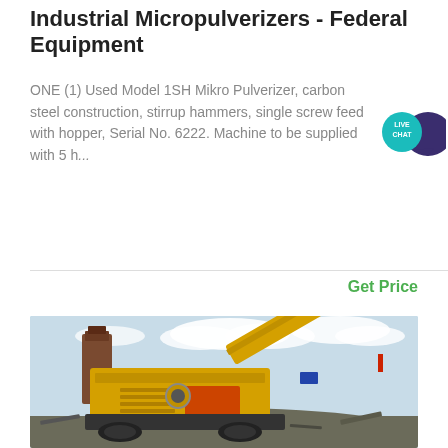Industrial Micropulverizers - Federal Equipment
ONE (1) Used Model 1SH Mikro Pulverizer, carbon steel construction, stirrup hammers, single screw feed with hopper, Serial No. 6222. Machine to be supplied with 5 h...
Get Price
[Figure (photo): Photo of a large yellow industrial crushing/screening machine on a pile of scrap metal/gravel, outdoors with blue sky and clouds in background]